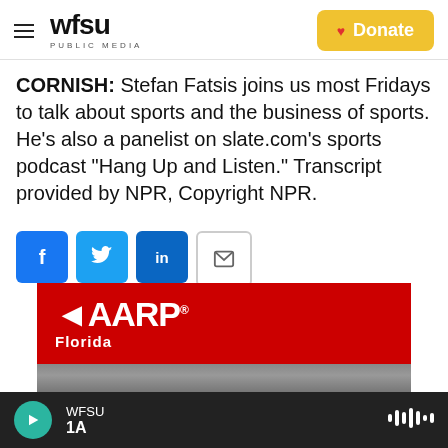WFSU Public Media | Donate
CORNISH: Stefan Fatsis joins us most Fridays to talk about sports and the business of sports. He's also a panelist on slate.com's sports podcast "Hang Up and Listen." Transcript provided by NPR, Copyright NPR.
[Figure (other): Social sharing buttons: Facebook (f), Twitter (bird), LinkedIn (in), Email (envelope)]
[Figure (other): AARP Florida advertisement banner with red background and AARP logo]
WFSU 1A — audio player bar with play button and waveform icon